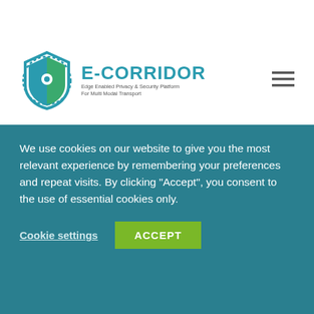E-CORRIDOR - Edge Enabled Privacy & Security Platform For Multi Modal Transport
2021 Joint EuCNC & 6G Summit
The 2021 Joint EuCNC & 6G Summit,
We use cookies on our website to give you the most relevant experience by remembering your preferences and repeat visits. By clicking "Accept", you consent to the use of essential cookies only.
Cookie settings
ACCEPT